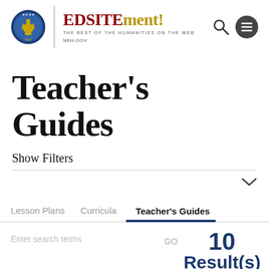[Figure (logo): EDSITEment logo with NEH.GOV seal, vertical divider, site name and subtitle 'The Best of the Humanities on the Web', plus search and menu icons]
Teacher's Guides
Show Filters
Lesson Plans   Curricula   Teacher's Guides
Enter search terms
10 Result(s)